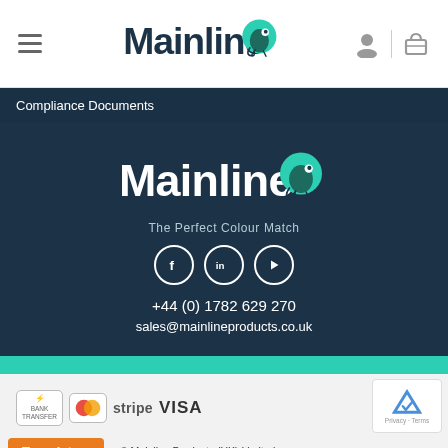Mainline — The Perfect Colour Match (website header with hamburger menu, logo, user and cart icons)
Compliance Documents
[Figure (logo): Mainline logo with chameleon on dark navy background, tagline: The Perfect Colour Match, social icons (Facebook, LinkedIn, YouTube), phone: +44 (0) 1782 629 270, email: sales@mainlineproducts.co.uk]
[Figure (logo): Payment method logos: Bank Transfer, MasterCard, stripe, VISA and reCAPTCHA badge]
© Mainline Products (UK) Limited
Translate »